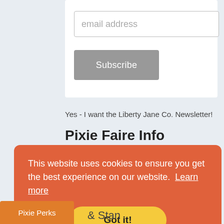[Figure (screenshot): Email subscription form with email address input field and grey Subscribe button on a white card]
Yes - I want the Liberty Jane Co. Newsletter!
Pixie Faire Info
About Us
Pixie Faire Story
Sew Powerful Purse
This website uses cookies to ensure you get the best experience on our website. Learn more
Got it!
Pixie Perks
& Stan